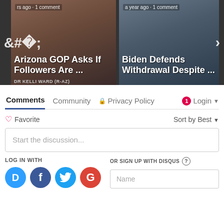[Figure (screenshot): News carousel with two article thumbnails. Left card: woman speaking, text overlay 'rs ago · 1 comment' and 'Arizona GOP Asks If Followers Are ...' with label 'DR KELLI WARD (R-AZ)'. Right card: Biden at podium, text overlay 'a year ago · 1 comment' and 'Biden Defends Withdrawal Despite ...'. Navigation arrows on left and right sides.]
Comments
Community
Privacy Policy
Login
Favorite
Sort by Best
Start the discussion...
LOG IN WITH
OR SIGN UP WITH DISQUS
Name